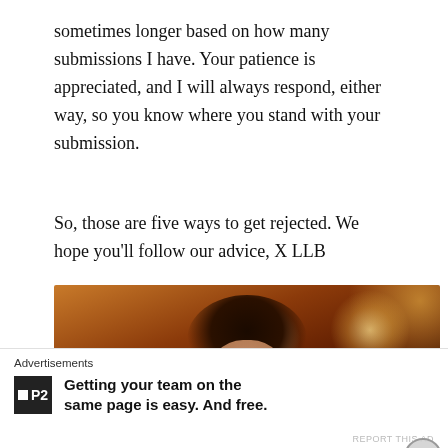sometimes longer based on how many submissions I have. Your patience is appreciated, and I will always respond, either way, so you know where you stand with your submission.
So, those are five ways to get rejected. We hope you'll follow our advice, X LLB
[Figure (photo): A performer with curly dark hair singing into a microphone on stage, illuminated by warm amber and orange stage lighting.]
Advertisements
Getting your team on the same page is easy. And free.